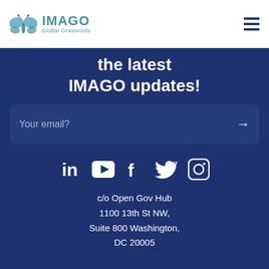[Figure (logo): IMAGO Global Grassroots logo with butterfly icon and text]
[Figure (other): Hamburger menu icon (three horizontal lines)]
the latest IMAGO updates!
Your email?
[Figure (infographic): Social media icons: LinkedIn, YouTube, Facebook, Twitter, Instagram]
c/o Open Gov Hub
1100 13th St NW,
Suite 800 Washington,
DC 20005